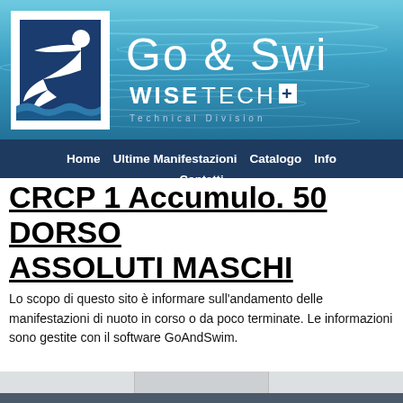[Figure (logo): Go & Swim website header with swimming logo and WiseTech Technical Division branding over aquatic background]
Home  Ultime Manifestazioni  Catalogo  Info  Contatti
CRCP 1 Accumulo. 50 DORSO ASSOLUTI MASCHI
Lo scopo di questo sito è informare sull'andamento delle manifestazioni di nuoto in corso o da poco terminate. Le informazioni sono gestite con il software GoAndSwim.